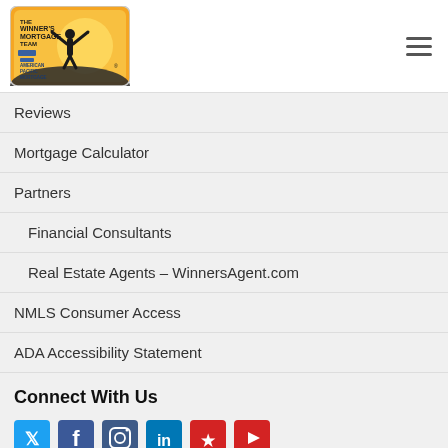[Figure (logo): Winner's Mortgage Team - American Pacific Mortgage logo with orange background and person silhouette raising arms]
Reviews
Mortgage Calculator
Partners
Financial Consultants
Real Estate Agents – WinnersAgent.com
NMLS Consumer Access
ADA Accessibility Statement
Connect With Us
[Figure (infographic): Social media icons row: Twitter (blue bird), Facebook (blue f), Instagram (camera), LinkedIn (in), Yelp (red), YouTube (red play)]